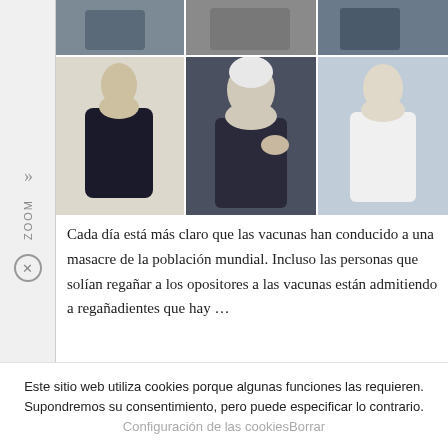[Figure (photo): Grid of six photos: top row shows three people (torsos/hands), bottom row shows a woman in black jacket seated, an elderly white-haired man gesturing at a meeting, and a man in white medical coat.]
Cada día está más claro que las vacunas han conducido a una masacre de la población mundial. Incluso las personas que solían regañar a los opositores a las vacunas están admitiendo a regañadientes que hay …
LEER MÁS
Este sitio web utiliza cookies porque algunas funciones las requieren. Supondremos su consentimiento, pero puede especificar lo contrario.
Configuración de las cookiesBorrar